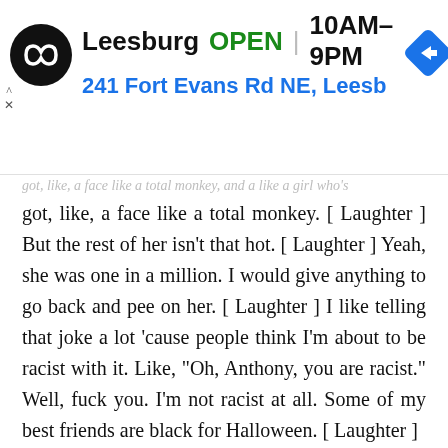[Figure (screenshot): Advertisement banner for a store location in Leesburg showing OPEN status, hours 10AM-9PM, and address 241 Fort Evans Rd NE, Leesb, with a circular black logo and a blue navigation arrow diamond icon]
got, like, a face like a total monkey. [ Laughter ] But the rest of her isn't that hot. [ Laughter ] Yeah, she was one in a million. I would give anything to go back and pee on her. [ Laughter ] I like telling that joke a lot 'cause people think I'm about to be racist with it. Like, "Oh, Anthony, you are racist." Well, fuck you. I'm not racist at all. Some of my best friends are black for Halloween. [ Laughter ]
Clubs are great. Colleges are great. Festivals, though — festivals are where it's at. Festivals — it's like